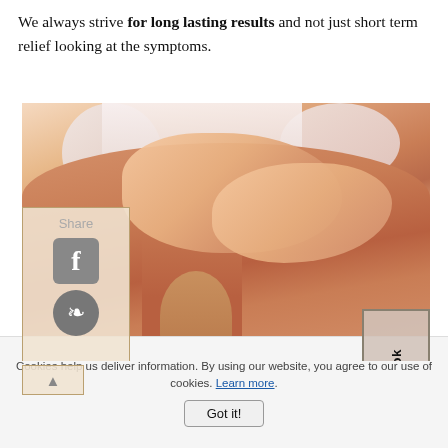We always strive for long lasting results and not just short term relief looking at the symptoms.
[Figure (photo): A therapist performing remedial massage on a person's upper back and shoulder area. The person is lying face down on a massage table. The therapist's hands are pressing into the neck and shoulder region.]
Remedial massage for upper shoulder pain
Cookies help us deliver information. By using our website, you agree to our use of cookies. Learn more.
Got it!